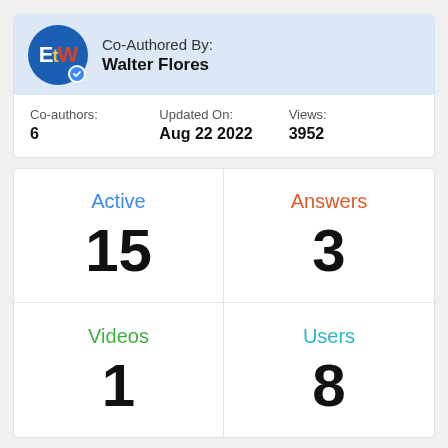[Figure (logo): EtW circular logo in blue with E in white, t in yellow, W in red, and a verification badge at bottom right]
Co-Authored By:
Walter Flores
| Co-authors: | Updated On: | Views: |
| --- | --- | --- |
| 6 | Aug 22 2022 | 3952 |
| Active | Answers |
| 15 | 3 |
| Videos | Users |
| 1 | 8 |